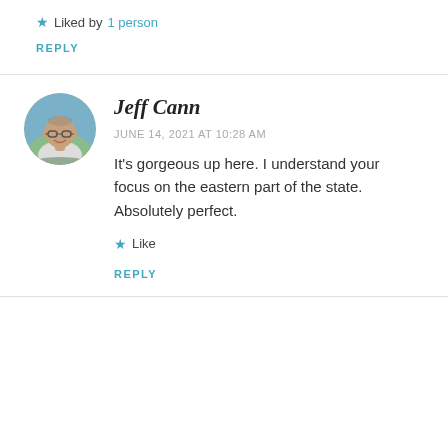★ Liked by 1 person
REPLY
Jeff Cann
JUNE 14, 2021 AT 10:28 AM
It's gorgeous up here. I understand your focus on the eastern part of the state. Absolutely perfect.
★ Like
REPLY